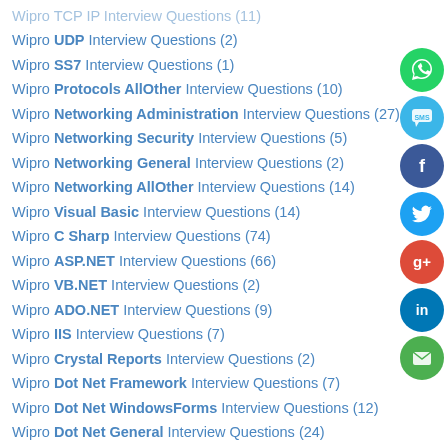Wipro UDP Interview Questions (2)
Wipro SS7 Interview Questions (1)
Wipro Protocols AllOther Interview Questions (10)
Wipro Networking Administration Interview Questions (27)
Wipro Networking Security Interview Questions (5)
Wipro Networking General Interview Questions (2)
Wipro Networking AllOther Interview Questions (14)
Wipro Visual Basic Interview Questions (14)
Wipro C Sharp Interview Questions (74)
Wipro ASP.NET Interview Questions (66)
Wipro VB.NET Interview Questions (2)
Wipro ADO.NET Interview Questions (9)
Wipro IIS Interview Questions (7)
Wipro Crystal Reports Interview Questions (2)
Wipro Dot Net Framework Interview Questions (7)
Wipro Dot Net WindowsForms Interview Questions (12)
Wipro Dot Net General Interview Questions (24)
Wipro Dot Net AllOther Interview Questions (2)